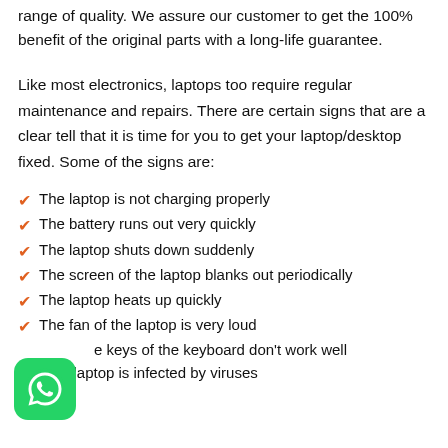range of quality. We assure our customer to get the 100% benefit of the original parts with a long-life guarantee.
Like most electronics, laptops too require regular maintenance and repairs. There are certain signs that are a clear tell that it is time for you to get your laptop/desktop fixed. Some of the signs are:
The laptop is not charging properly
The battery runs out very quickly
The laptop shuts down suddenly
The screen of the laptop blanks out periodically
The laptop heats up quickly
The fan of the laptop is very loud
The keys of the keyboard don't work well
Your laptop is infected by viruses